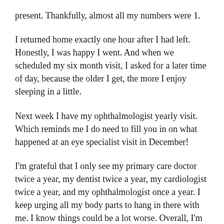present. Thankfully, almost all my numbers were 1.
I returned home exactly one hour after I had left. Honestly, I was happy I went. And when we scheduled my six month visit, I asked for a later time of day, because the older I get, the more I enjoy sleeping in a little.
Next week I have my ophthalmologist yearly visit. Which reminds me I do need to fill you in on what happened at an eye specialist visit in December!
I'm grateful that I only see my primary care doctor twice a year, my dentist twice a year, my cardiologist twice a year, and my ophthalmologist once a year. I keep urging all my body parts to hang in there with me. I know things could be a lot worse. Overall, I'm healthy for my age and I thank God for this.